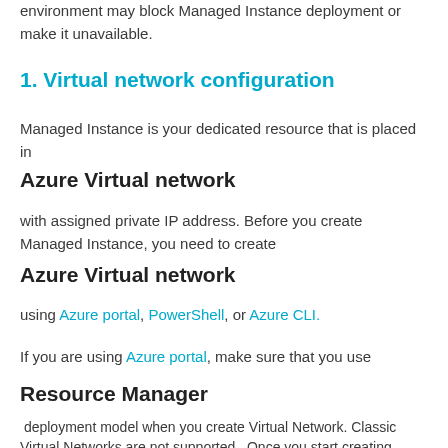environment may block Managed Instance deployment or make it unavailable.
1. Virtual network configuration
Managed Instance is your dedicated resource that is placed in
Azure Virtual network
with assigned private IP address. Before you create Managed Instance, you need to create
Azure Virtual network
using Azure portal, PowerShell, or Azure CLI.
If you are using Azure portal, make sure that you use
Resource Manager
deployment model when you create Virtual Network. Classic Virtual Networks are not supported. Once you start creating Virtual Network, make sure that
Service Endpoints option